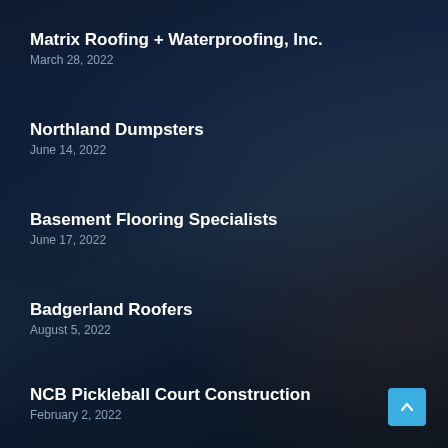Matrix Roofing + Waterproofing, Inc.
March 28, 2022
Northland Dumpsters
June 14, 2022
Basement Flooring Specialists
June 17, 2022
Badgerland Roofers
August 5, 2022
NCB Pickleball Court Construction
February 2, 2022